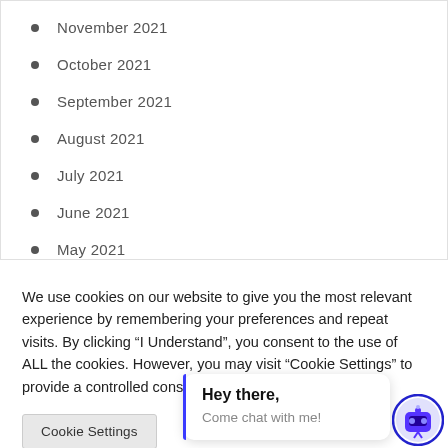November 2021
October 2021
September 2021
August 2021
July 2021
June 2021
May 2021
We use cookies on our website to give you the most relevant experience by remembering your preferences and repeat visits. By clicking “I Understand”, you consent to the use of ALL the cookies. However, you may visit “Cookie Settings” to provide a controlled consent.
Cookie Settings
Hey there,
Come chat with me!